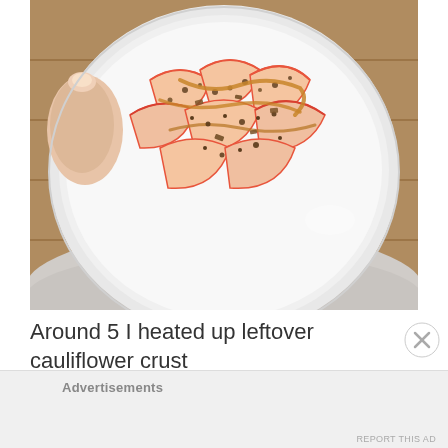[Figure (photo): Overhead photo of a white ceramic plate held by a person, containing sliced apples or nectarines topped with a brown crumbly topping (possibly granola or seeds) and what appears to be nut butter drizzle. The plate is resting on the person's lap, with wooden flooring visible in the background.]
Around 5 I heated up leftover cauliflower crust
Advertisements